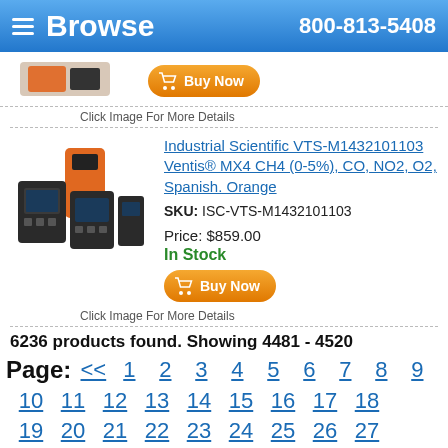Browse  800-813-5408
[Figure (photo): Partial view of orange gas detector device at top of page]
Buy Now
Click Image For More Details
Industrial Scientific VTS-M1432101103 Ventis® MX4 CH4 (0-5%), CO, NO2, O2, Spanish. Orange
SKU: ISC-VTS-M1432101103
Price: $859.00
In Stock
Buy Now
Click Image For More Details
6236 products found. Showing 4481 - 4520
Page: << 1 2 3 4 5 6 7 8 9
10 11 12 13 14 15 16 17 18
19 20 21 22 23 24 25 26 27